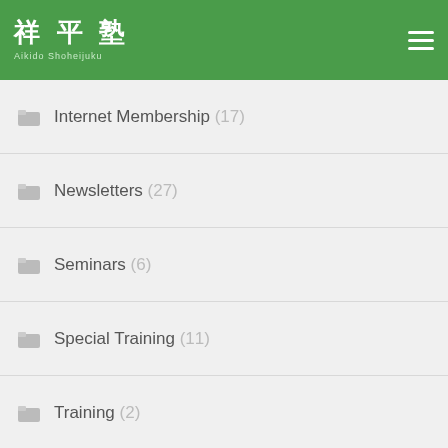Aikido Shoheijuku
Internet Membership (17)
Newsletters (27)
Seminars (6)
Special Training (11)
Training (2)
Uncategorized (10)
Zazen (10)
Aikido Shoheijuku
〒812-0893　福岡市博多区半木5丁目2-32